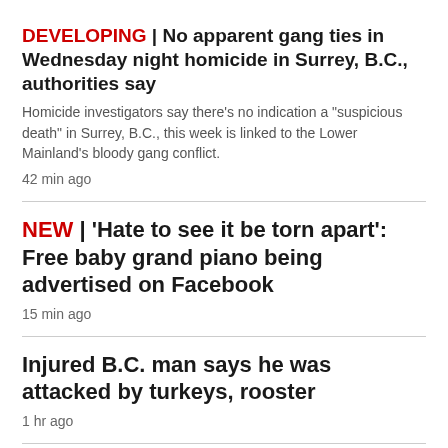DEVELOPING | No apparent gang ties in Wednesday night homicide in Surrey, B.C., authorities say
Homicide investigators say there's no indication a "suspicious death" in Surrey, B.C., this week is linked to the Lower Mainland's bloody gang conflict.
42 min ago
NEW | 'Hate to see it be torn apart': Free baby grand piano being advertised on Facebook
15 min ago
Injured B.C. man says he was attacked by turkeys, rooster
1 hr ago